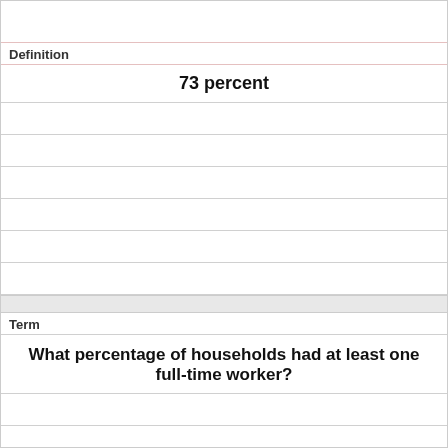Definition
73 percent
Term
What percentage of households had at least one full-time worker?